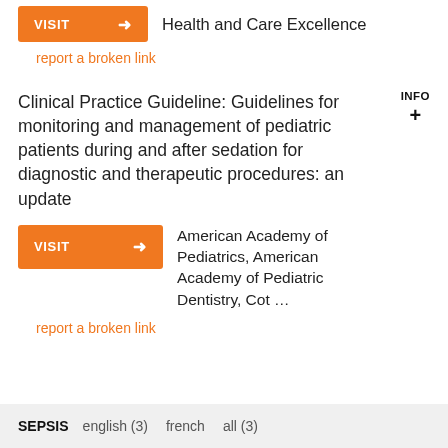[Figure (other): Orange VISIT button with arrow]
Health and Care Excellence
report a broken link
Clinical Practice Guideline: Guidelines for monitoring and management of pediatric patients during and after sedation for diagnostic and therapeutic procedures: an update
INFO +
[Figure (other): Orange VISIT button with arrow]
American Academy of Pediatrics, American Academy of Pediatric Dentistry, Cot …
report a broken link
SEPSIS  english (3)  french  all (3)